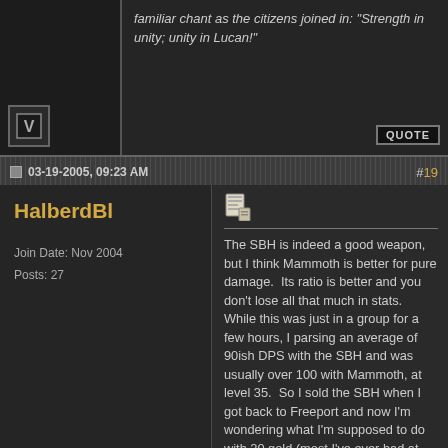familiar chant as the citizens joined in: "Strength in unity; unity in Lucan!"
03-19-2005, 09:23 AM
#19
HalberdBl
Join Date: Nov 2004
Posts: 27
The SBH is indeed a good weapon, but I think Mammoth is better for pure damage.  Its ratio is better and you don't lose all that much in stats.  While this was just in a group for a few hours, I parsing an average of 90ish DPS with the SBH and was usually over 100 with Mammoth, at level 35.  So I sold the SBH when I got back to Freeport and now I'm wondering what I'm supposed to do with 20 gold (most I've ever had at one time was like 11 gold, and now I have like 28, and a Rough Opal that I got off a Clay Insurgent to boot.
Mordain Godscairn lvl 36 Dwarf Berserker of Freeport